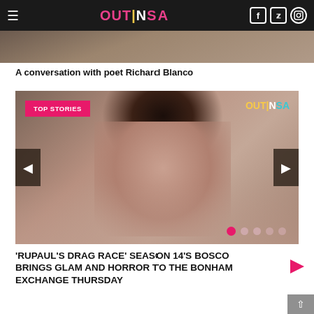OUTINSA (navigation bar with hamburger menu and social icons)
[Figure (photo): Partial photo of a person, cropped at top of page, muted warm tones]
A conversation with poet Richard Blanco
[Figure (photo): Carousel slide showing drag performer Bosco with dark hair, dramatic makeup, gold earring, and a rose-colored jacket. Overlaid with TOP STORIES badge in pink, OUTINSA logo top right, left/right navigation arrows, and five pagination dots.]
'RUPAUL'S DRAG RACE' SEASON 14'S BOSCO BRINGS GLAM AND HORROR TO THE BONHAM EXCHANGE THURSDAY